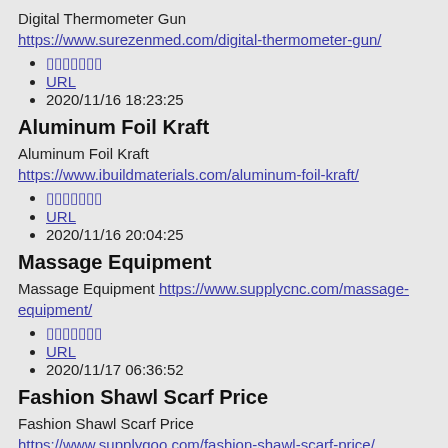Digital Thermometer Gun https://www.surezenmed.com/digital-thermometer-gun/
▯▯▯▯▯▯▯
URL
2020/11/16 18:23:25
Aluminum Foil Kraft
Aluminum Foil Kraft https://www.ibuildmaterials.com/aluminum-foil-kraft/
▯▯▯▯▯▯▯
URL
2020/11/16 20:04:25
Massage Equipment
Massage Equipment https://www.supplycnc.com/massage-equipment/
▯▯▯▯▯▯▯
URL
2020/11/17 06:36:52
Fashion Shawl Scarf Price
Fashion Shawl Scarf Price https://www.supplygoo.com/fashion-shawl-scarf-price/